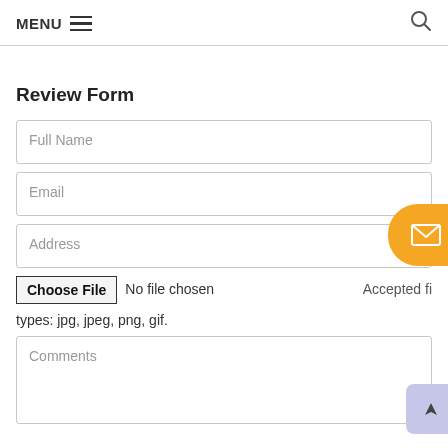MENU (hamburger icon) | Search icon
Review Form
Full Name
Email
Address
Choose File  No file chosen  Accepted file types: jpg, jpeg, png, gif.
Comments